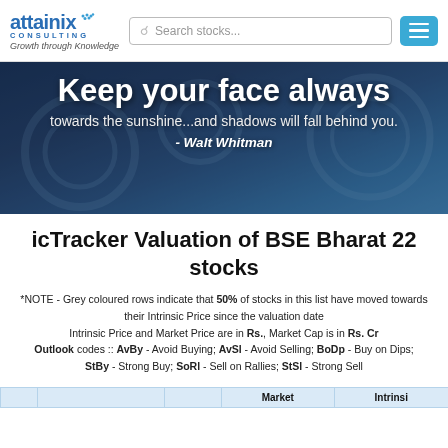attainix CONSULTING - Growth through Knowledge | Search stocks... | Menu
[Figure (photo): Dark blue technology/gears background banner with motivational quote: 'Keep your face always towards the sunshine...and shadows will fall behind you. - Walt Whitman']
icTracker Valuation of BSE Bharat 22 stocks
*NOTE - Grey coloured rows indicate that 50% of stocks in this list have moved towards their Intrinsic Price since the valuation date
Intrinsic Price and Market Price are in Rs., Market Cap is in Rs. Cr
Outlook codes :: AvBy - Avoid Buying; AvSl - Avoid Selling; BoDp - Buy on Dips; StBy - Strong Buy; SoRl - Sell on Rallies; StSl - Strong Sell
|  |  |  | Market | Intrinsi |
| --- | --- | --- | --- | --- |